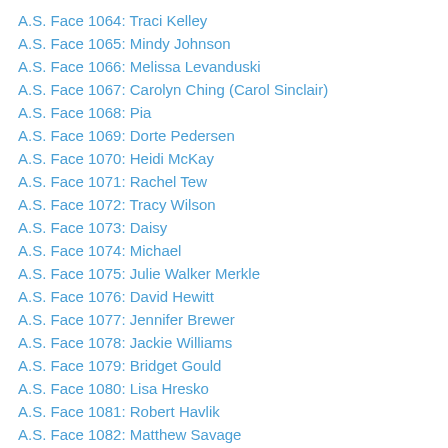A.S. Face 1064: Traci Kelley
A.S. Face 1065: Mindy Johnson
A.S. Face 1066: Melissa Levanduski
A.S. Face 1067: Carolyn Ching (Carol Sinclair)
A.S. Face 1068: Pia
A.S. Face 1069: Dorte Pedersen
A.S. Face 1070: Heidi McKay
A.S. Face 1071: Rachel Tew
A.S. Face 1072: Tracy Wilson
A.S. Face 1073: Daisy
A.S. Face 1074: Michael
A.S. Face 1075: Julie Walker Merkle
A.S. Face 1076: David Hewitt
A.S. Face 1077: Jennifer Brewer
A.S. Face 1078: Jackie Williams
A.S. Face 1079: Bridget Gould
A.S. Face 1080: Lisa Hresko
A.S. Face 1081: Robert Havlik
A.S. Face 1082: Matthew Savage
A.S. Face 1083: Angela Sutton